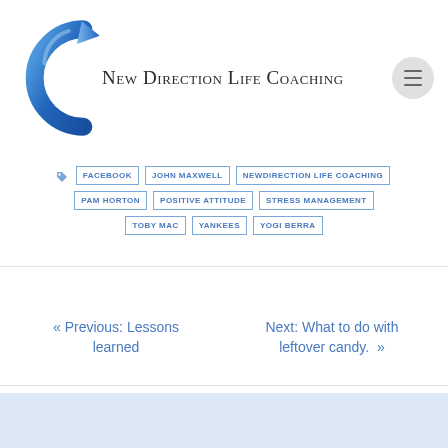[Figure (logo): New Direction Life Coaching logo with blue circular arrow and text]
FACEBOOK
JOHN MAXWELL
NEWDIRECTION LIFE COACHING
PAM HORTON
POSITIVE ATTITUDE
STRESS MANAGEMENT
TOBY MAC
YANKEES
YOGI BERRA
« Previous: Lessons learned
Next: What to do with leftover candy. »